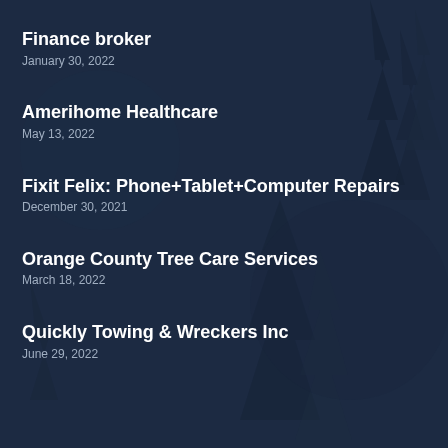Finance broker
January 30, 2022
Amerihome Healthcare
May 13, 2022
Fixit Felix: Phone+Tablet+Computer Repairs
December 30, 2021
Orange County Tree Care Services
March 18, 2022
Quickly Towing & Wreckers Inc
June 29, 2022